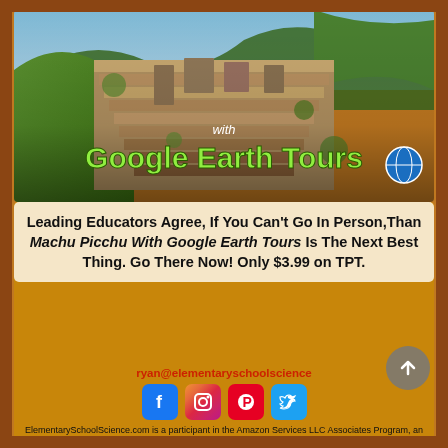[Figure (photo): Aerial/scenic photo of Machu Picchu terraces with 'with Google Earth Tours' text overlay]
Leading Educators Agree, If You Can't Go In Person,Than Machu Picchu With Google Earth Tours Is The Next Best Thing. Go There Now! Only $3.99 on TPT.
ryan@elementaryschoolscience
[Figure (infographic): Social media icons: Facebook, Instagram, Pinterest, Twitter]
ElementarySchoolScience.com is a participant in the Amazon Services LLC Associates Program, an affiliate advertising program designed to provide a means for sites to earn advertising fees by advertising and linking ElementaryScienceClass.com" to Amazon.com.
© 2017 by Elementary School Science.